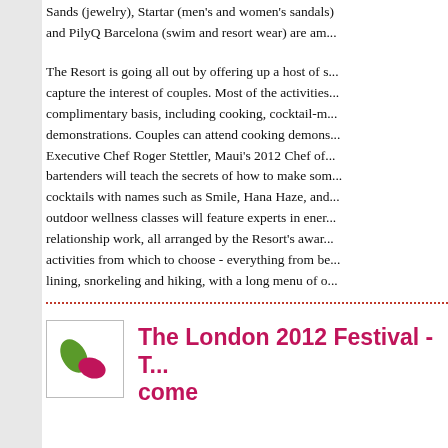Sands (jewelry), Startar (men's and women's sandals) and PilyQ Barcelona (swim and resort wear) are am...
The Resort is going all out by offering up a host of s... capture the interest of couples. Most of the activities... complimentary basis, including cooking, cocktail-m... demonstrations. Couples can attend cooking demons... Executive Chef Roger Stettler, Maui's 2012 Chef of... bartenders will teach the secrets of how to make som... cocktails with names such as Smile, Hana Haze, and... outdoor wellness classes will feature experts in ener... relationship work, all arranged by the Resort's awar... activities from which to choose - everything from be... lining, snorkeling and hiking, with a long menu of o...
The London 2012 Festival - T... come
[Figure (logo): Logo with green and pink/magenta leaf shapes on white background with border]